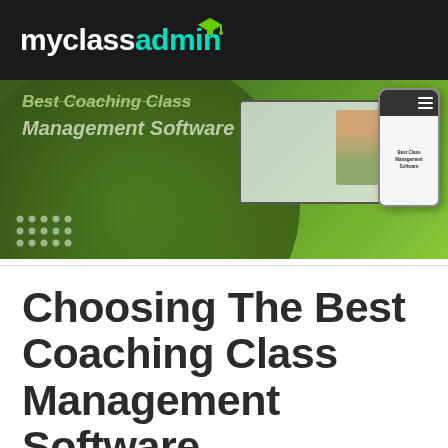myclassadmin
[Figure (screenshot): Hero banner showing 'Best Coaching Class Management Software' text with green gradient background, laptop and phone device mockups on the right side, and a dot grid pattern on the lower left]
Choosing The Best Coaching Class Management Software